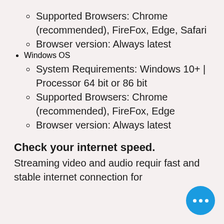Supported Browsers: Chrome (recommended), FireFox, Edge, Safari
Browser version: Always latest
Windows OS
System Requirements: Windows 10+ | Processor 64 bit or 86 bit
Supported Browsers: Chrome (recommended), FireFox, Edge
Browser version: Always latest
Check your internet speed.
Streaming video and audio requir fast and stable internet connection for